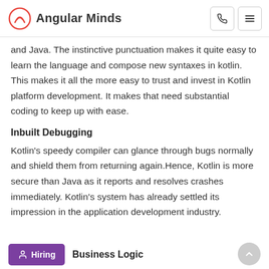Angular Minds
and Java. The instinctive punctuation makes it quite easy to learn the language and compose new syntaxes in kotlin. This makes it all the more easy to trust and invest in Kotlin platform development. It makes that need substantial coding to keep up with ease.
Inbuilt Debugging
Kotlin's speedy compiler can glance through bugs normally and shield them from returning again.Hence, Kotlin is more secure than Java as it reports and resolves crashes immediately. Kotlin's system has already settled its impression in the application development industry.
Business Logic